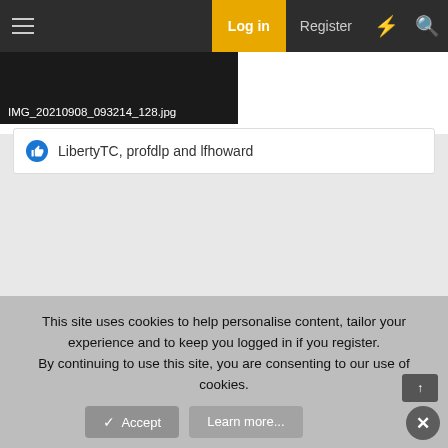Log in  Register
[Figure (screenshot): Dark thumbnail image with filename label IMG_20210908_093214_128.jpg]
LibertyTC, profdlp and lfhoward
This site uses cookies to help personalise content, tailor your experience and to keep you logged in if you register. By continuing to use this site, you are consenting to our use of cookies.
Accept   Learn more...